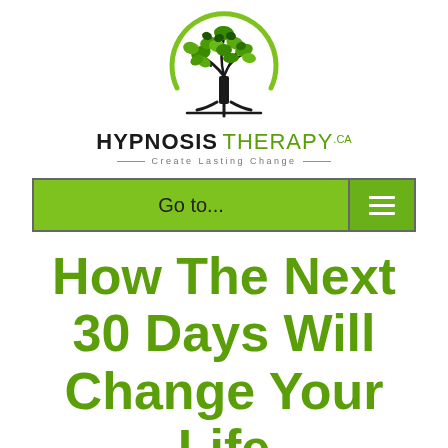[Figure (logo): Hypnosis Therapy.ca logo: a stylized tree with green leaves inside a green arc/circle, above the text HYPNOSIS THERAPY.ca and tagline Create Lasting Change]
Go to...
How The Next 30 Days Will Change Your Life
For A Limited Time We Are Offering Our 30 Day Mind & Body Wellness Program Completely Free